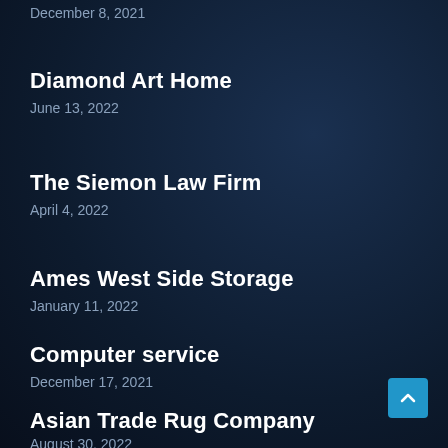December 8, 2021
Diamond Art Home
June 13, 2022
The Siemon Law Firm
April 4, 2022
Ames West Side Storage
January 11, 2022
Computer service
December 17, 2021
Asian Trade Rug Company
August 30, 2022